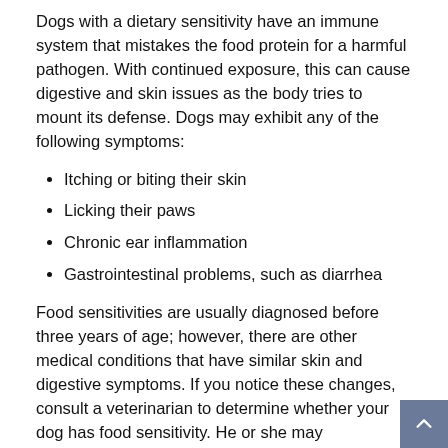Dogs with a dietary sensitivity have an immune system that mistakes the food protein for a harmful pathogen. With continued exposure, this can cause digestive and skin issues as the body tries to mount its defense. Dogs may exhibit any of the following symptoms:
Itching or biting their skin
Licking their paws
Chronic ear inflammation
Gastrointestinal problems, such as diarrhea
Food sensitivities are usually diagnosed before three years of age; however, there are other medical conditions that have similar skin and digestive symptoms. If you notice these changes, consult a veterinarian to determine whether your dog has food sensitivity. He or she may recommend a limited-ingredient formula with a novel protein.
Switching to a Novel Animal Protein Dog Food